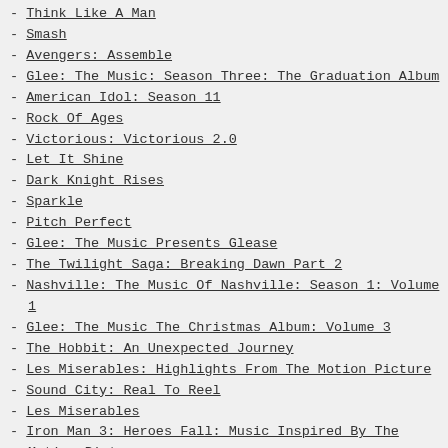Think Like A Man
Smash
Avengers: Assemble
Glee: The Music: Season Three: The Graduation Album
American Idol: Season 11
Rock Of Ages
Victorious: Victorious 2.0
Let It Shine
Dark Knight Rises
Sparkle
Pitch Perfect
Glee: The Music Presents Glease
The Twilight Saga: Breaking Dawn Part 2
Nashville: The Music Of Nashville: Season 1: Volume 1
Glee: The Music The Christmas Album: Volume 3
The Hobbit: An Unexpected Journey
Les Miserables: Highlights From The Motion Picture
Sound City: Real To Reel
Les Miserables
Iron Man 3: Heroes Fall: Music Inspired By The Motion Picture
The Great Gatsby: Music From Baz Luhrmann's Film
Nashville: The Music Of Nashville: Season 1: Volume 2
Fast & Furious 6
Man Of Steel